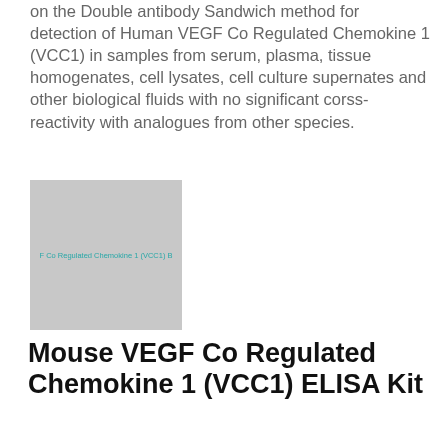on the Double antibody Sandwich method for detection of Human VEGF Co Regulated Chemokine 1 (VCC1) in samples from serum, plasma, tissue homogenates, cell lysates, cell culture supernates and other biological fluids with no significant corss-reactivity with analogues from other species.
[Figure (photo): Product image placeholder for VEGF Co Regulated Chemokine 1 (VCC1) ELISA kit with teal text label]
Mouse VEGF Co Regulated Chemokine 1 (VCC1) ELISA Kit
SEC068Mu-10x96wellstestplate   Cloud-Clone   10x96-wells test plate   4862.4 EUR
Description: This is Double-antibody Sandwich Enzyme-linked immunosorbent assay for detection of Mouse VEGF